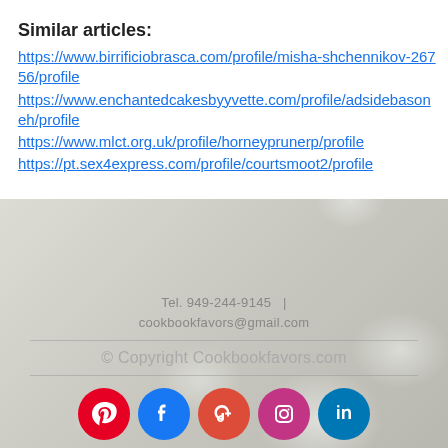Similar articles:
https://www.birrificiobrasca.com/profile/misha-shchennikov-26756/profile
https://www.enchantedcakesbyyvette.com/profile/adsidebasoneh/profile
https://www.mlct.org.uk/profile/horneyprunerp/profile
https://pt.sex4express.com/profile/courtsmoot2/profile
Tel. 949-244-9145  |  cookbookfavors@gmail.com
© Copyright Cookbookfavors.com